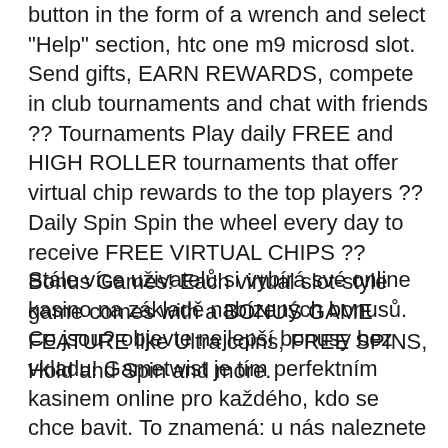button in the form of a wrench and select "Help" section, htc one m9 microsd slot. Send gifts, EARN REWARDS, compete in club tournaments and chat with friends ?? Tournaments Play daily FREE and HIGH ROLLER tournaments that offer virtual chip rewards to the top players ?? Daily Spin Spin the wheel every day to receive FREE VIRTUAL CHIPS ?? Bonus Games! Each virtual slot-style game comes with a BONUS GAME FEATURE like Ultra coins, FREE SPINS, Hold and Spin and more.
Stále více uživatelů si vybírá své online kasino na základě nabízených bonusů. Co jsou? objevte nejlepší bonusy bez vkladu! Gametwist je tím perfektním kasinem online pro každého, kdo se chce bavit. To znamená: u nás naleznete všechno, co. Royal vegas gives you welcome bonus when you sign up. Play